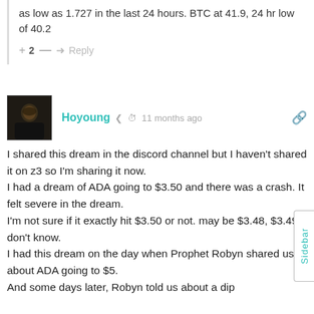as low as 1.727 in the last 24 hours. BTC at 41.9, 24 hr low of 40.2
+ 2 — → Reply
Hoyoung  ⏰ 11 months ago
I shared this dream in the discord channel but I haven't shared it on z3 so I'm sharing it now. I had a dream of ADA going to $3.50 and there was a crash. It felt severe in the dream. I'm not sure if it exactly hit $3.50 or not. may be $3.48, $3.49. I don't know. I had this dream on the day when Prophet Robyn shared us about ADA going to $5. And some days later, Robyn told us about a dip